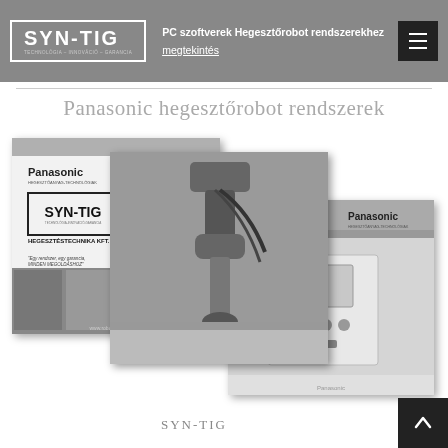PC szoftverek Hegesztőrobot rendszerekhez | megtekintés
Panasonic hegesztőrobot rendszerek
[Figure (photo): Panasonic welding robot brochure cover showing SYN-TIG Hegesztéstechnika Kft. branding with welding robot image]
[Figure (photo): Industrial welding robot arm close-up photo]
[Figure (photo): Panasonic welding robot control panel and industrial equipment]
SYN-TIG